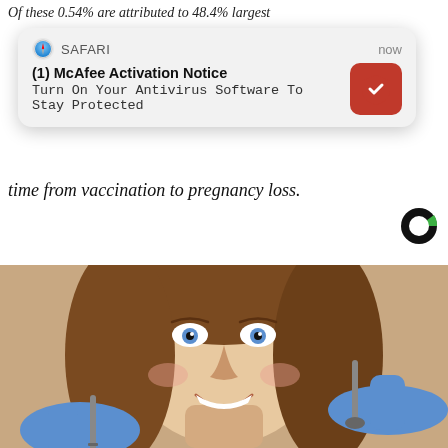Of these 0.54% are attributed to 48.4% largest...
[Figure (screenshot): Safari browser push notification popup showing (1) McAfee Activation Notice with text 'Turn On Your Antivirus Software To Stay Protected' and McAfee red icon logo, timestamped 'now']
time from vaccination to pregnancy loss.
[Figure (logo): Coral (media company) circular logo in black and green]
[Figure (photo): Smiling young woman with blue eyes at dental office, dental professionals in blue gloves holding dental tools near her mouth]